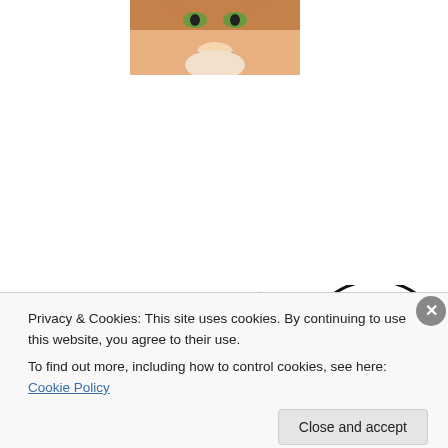[Figure (photo): Close-up photo of a cat's face (orange/tabby cat), partially cropped, showing nose and face from above]
[Figure (illustration): Composite image showing a Christmas tree with gold star and ornaments, a purple dragon/bird figure, and a circular logo element with the word 'Today' in bold serif font]
Privacy & Cookies: This site uses cookies. By continuing to use this website, you agree to their use.
To find out more, including how to control cookies, see here: Cookie Policy
Close and accept